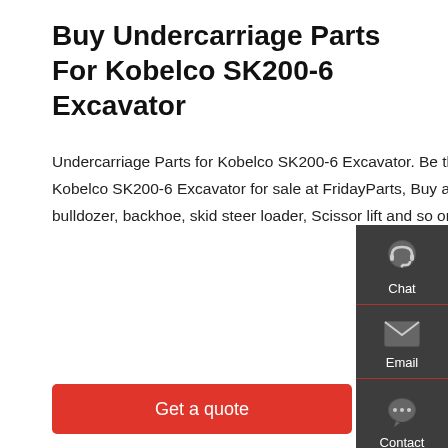Buy Undercarriage Parts For Kobelco SK200-6 Excavator
Undercarriage Parts for Kobelco SK200-6 Excavator. Be the first to review this product. Undercarriage Parts for Kobelco SK200-6 Excavator for sale at FridayParts, Buy aftermarket parts For KOBELCO excavators, wheel loaders, bulldozer, backhoe, skid steer loader, Scissor lift and so on. As low as US$1.04. Availability: In stock.
[Figure (infographic): Side panel with Chat, Email, and Contact icons on dark grey background with red dividers]
Get a quote
[Figure (photo): Yellow and dark blue Kobelco SK200-6 excavator, partially visible, shot from side angle]